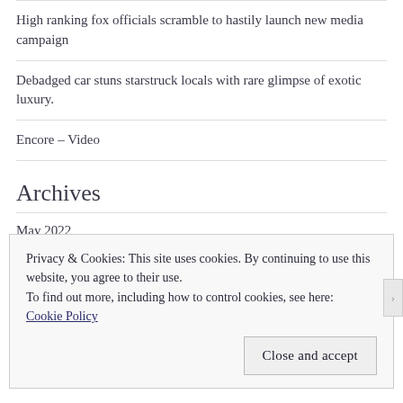High ranking fox officials scramble to hastily launch new media campaign
Debadged car stuns starstruck locals with rare glimpse of exotic luxury.
Encore – Video
Archives
May 2022
September 2020
Privacy & Cookies: This site uses cookies. By continuing to use this website, you agree to their use.
To find out more, including how to control cookies, see here:
Cookie Policy
Close and accept